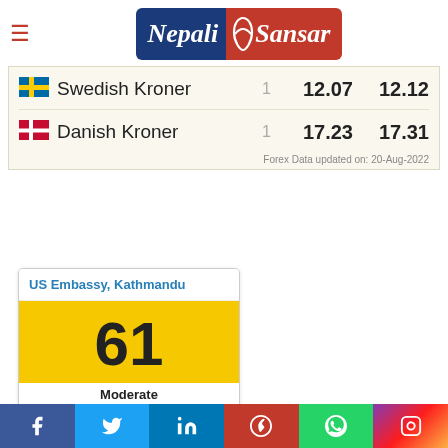Nepali Sansar
| Currency | Unit | Buy | Sell |
| --- | --- | --- | --- |
| Swedish Kroner | 1 | 12.07 | 12.12 |
| Danish Kroner | 1 | 17.23 | 17.31 |
Forex Data updated on: 20-Aug-2022
[Figure (infographic): US Embassy, Kathmandu air quality widget showing AQI value of 61 (Moderate), with PM2.5 sparkline chart. Updated on Saturday.]
We've updated our Privacy Policy. Please take a moment to review those changes. By clicking I Agree, You Agree to Nepalisansar Privacy Policy and Cookie Policy  Cookie settings  AGREE
Facebook Twitter LinkedIn Pinterest WhatsApp Instagram